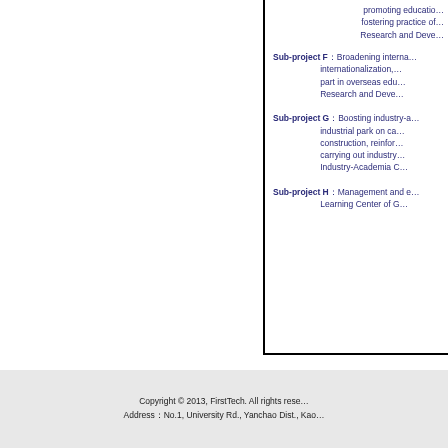promoting education fostering practice of Research and Deve...
Sub-project F: Broadening internationalization, part in overseas edu... Research and Deve...
Sub-project G: Boosting industry-a... industrial park on ca... construction, reinfor... carrying out industry... Industry-Academia ...
Sub-project H: Management and e... Learning Center of G...
Copyright © 2013, FirstTech. All rights rese... Address：No.1, University Rd., Yanchao Dist., Kao...